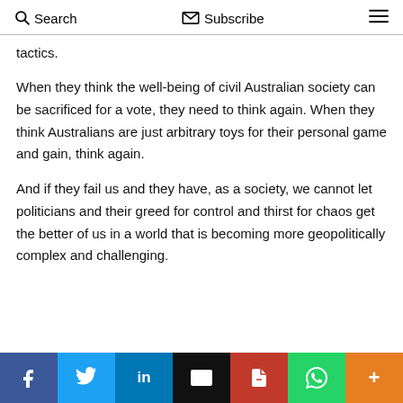Search   Subscribe   ≡
tactics.
When they think the well-being of civil Australian society can be sacrificed for a vote, they need to think again. When they think Australians are just arbitrary toys for their personal game and gain, think again.
And if they fail us and they have, as a society, we cannot let politicians and their greed for control and thirst for chaos get the better of us in a world that is becoming more geopolitically complex and challenging.